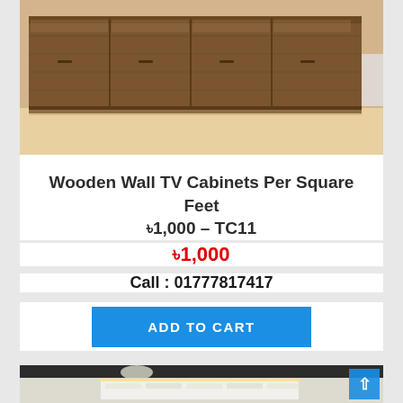[Figure (photo): Photo of a wooden wall TV cabinet with dark walnut finish, showing multiple compartments and drawers on a light wooden floor]
Wooden Wall TV Cabinets Per Square Feet ৳1,000 – TC11
৳1,000
Call : 01777817417
ADD TO CART
[Figure (photo): Interior room photo showing a modern TV wall with white brick-style panels and LED backlighting above a dark TV setup]